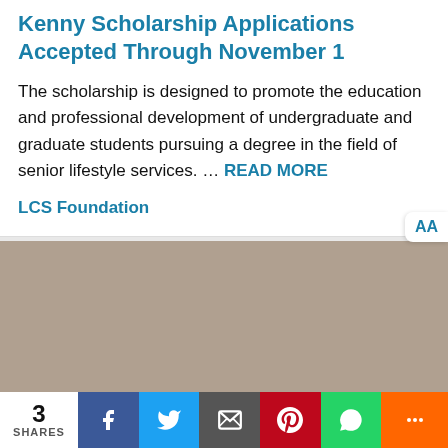Kenny Scholarship Applications Accepted Through November 1
The scholarship is designed to promote the education and professional development of undergraduate and graduate students pursuing a degree in the field of senior lifestyle services. … READ MORE
LCS Foundation
[Figure (photo): A smiling young woman with long blonde hair, wearing a gray top with a necklace, photographed against a beige background. The image is flanked by blurred/darkened panels on either side.]
3 SHARES  [Facebook] [Twitter] [Email] [Pinterest] [WhatsApp] [More]